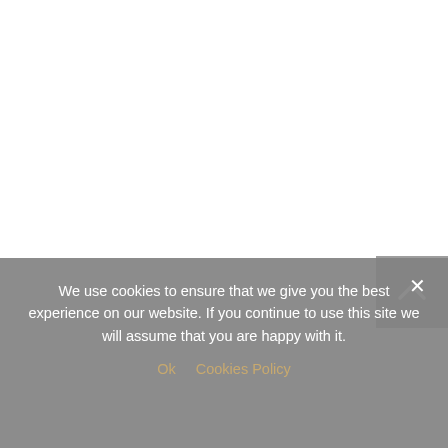We use cookies to ensure that we give you the best experience on our website. If you continue to use this site we will assume that you are happy with it.
Ok   Cookies Policy